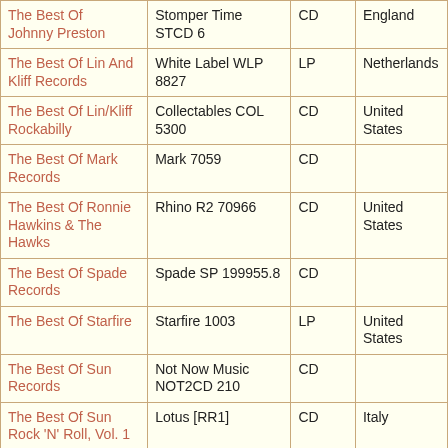| Title | Label/Catalog | Format | Country |
| --- | --- | --- | --- |
| The Best Of Johnny Preston | Stomper Time STCD 6 | CD | England |
| The Best Of Lin And Kliff Records | White Label WLP 8827 | LP | Netherlands |
| The Best Of Lin/Kliff Rockabilly | Collectables COL 5300 | CD | United States |
| The Best Of Mark Records | Mark 7059 | CD |  |
| The Best Of Ronnie Hawkins & The Hawks | Rhino R2 70966 | CD | United States |
| The Best Of Spade Records | Spade SP 199955.8 | CD |  |
| The Best Of Starfire | Starfire 1003 | LP | United States |
| The Best Of Sun Records | Not Now Music NOT2CD 210 | CD |  |
| The Best Of Sun Rock 'N' Roll, Vol. 1 | Lotus [RR1] | CD | Italy |